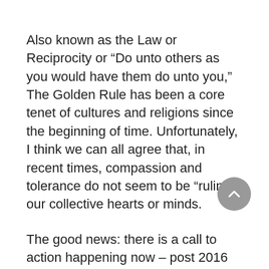Also known as the Law or Reciprocity or “Do unto others as you would have them do unto you,” The Golden Rule has been a core tenet of cultures and religions since the beginning of time. Unfortunately, I think we can all agree that, in recent times, compassion and tolerance do not seem to be “ruling” our collective hearts or minds.
The good news: there is a call to action happening now – post 2016 and in response to Drumpf, Brexit, and increases in hate crimes, terror attacks, species extinction, etc. – that humanity band together to accept our differences and to